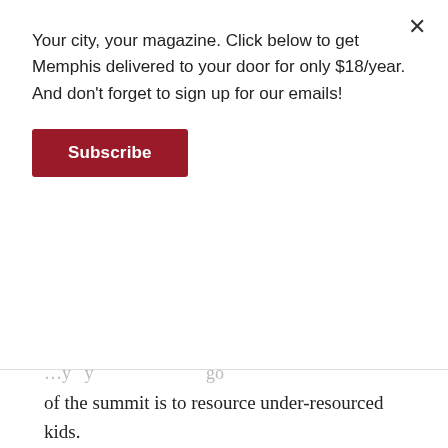Your city, your magazine. Click below to get Memphis delivered to your door for only $18/year. And don't forget to sign up for our emails!
Subscribe
of the summit is to resource under-resourced kids.
Leading up to the summit, an art contest is in the works. “One of the ideas,” Frank says, “being that kids need other ways to let out their expression, to express themselves. They need to be heard. So that’s a big part of what we try to provide, too: voice.”
Frank sees the summit as the inception